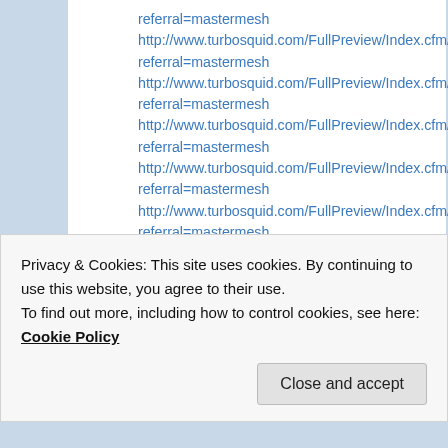referral=mastermesh
http://www.turbosquid.com/FullPreview/Index.cfm/ID/218998asph28.
referral=mastermesh
http://www.turbosquid.com/FullPreview/Index.cfm/ID/219077asph29.
referral=mastermesh
http://www.turbosquid.com/FullPreview/Index.cfm/ID/219078asph6.jp
referral=mastermesh
http://www.turbosquid.com/FullPreview/Index.cfm/ID/219079asph3.jp
referral=mastermesh
http://www.turbosquid.com/FullPreview/Index.cfm/ID/219080asph30.
referral=mastermesh
http://www.turbosquid.com/FullPreview/Index.cfm/ID/219081asph9.jp
referral=mastermesh
http://www.turbosquid.com/FullPreview/Index.cfm/ID/219082asph31.
Privacy & Cookies: This site uses cookies. By continuing to use this website, you agree to their use.
To find out more, including how to control cookies, see here: Cookie Policy
Close and accept